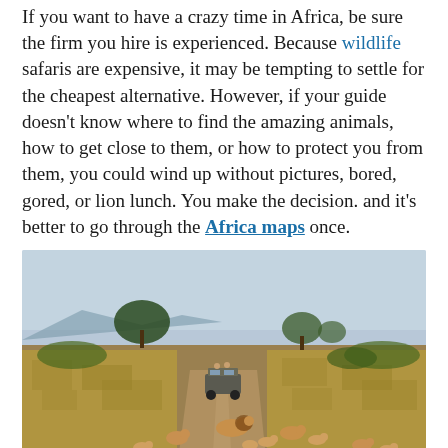If you want to have a crazy time in Africa, be sure the firm you hire is experienced. Because wildlife safaris are expensive, it may be tempting to settle for the cheapest alternative. However, if your guide doesn't know where to find the amazing animals, how to get close to them, or how to protect you from them, you could wind up without pictures, bored, gored, or lion lunch. You make the decision. and it's better to go through the Africa maps once.
[Figure (photo): A pride of lions walking along a dirt road in an African savanna, with a safari vehicle following behind them in the distance. Dry grassland and trees visible on either side of the road under a pale blue sky.]